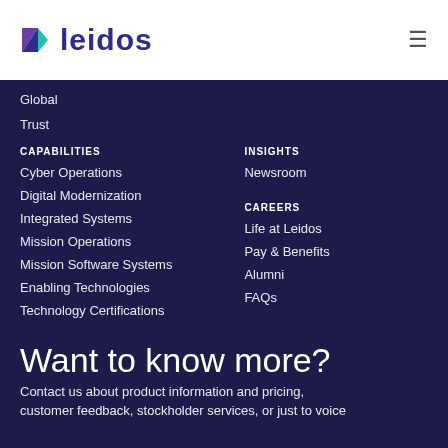leidos
Global
Trust
CAPABILITIES
Cyber Operations
Digital Modernization
Integrated Systems
Mission Operations
Mission Software Systems
Enabling Technologies
Technology Certifications
INSIGHTS
Newsroom
CAREERS
Life at Leidos
Pay & Benefits
Alumni
FAQs
Want to know more?
Contact us about product information and pricing, customer feedback, stockholder services, or just to voice